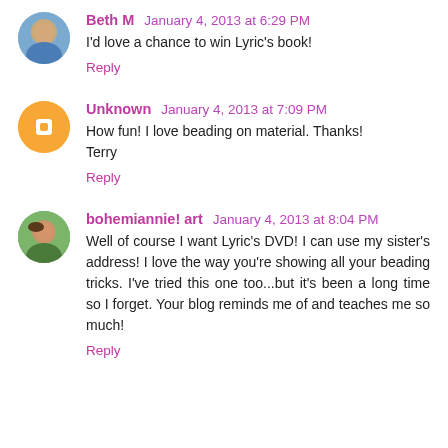Beth M  January 4, 2013 at 6:29 PM
I'd love a chance to win Lyric's book!
Reply
Unknown  January 4, 2013 at 7:09 PM
How fun! I love beading on material. Thanks!
Terry
Reply
bohemiannie! art  January 4, 2013 at 8:04 PM
Well of course I want Lyric's DVD! I can use my sister's address! I love the way you're showing all your beading tricks. I've tried this one too...but it's been a long time so I forget. Your blog reminds me of and teaches me so much!
Reply